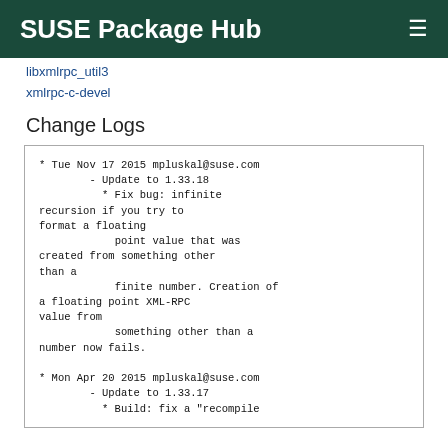SUSE Package Hub
libxmlrpc_util3
xmlrpc-c-devel
Change Logs
* Tue Nov 17 2015 mpluskal@suse.com
        - Update to 1.33.18
          * Fix bug: infinite recursion if you try to format a floating
            point value that was created from something other than a
            finite number. Creation of a floating point XML-RPC value from
            something other than a number now fails.

* Mon Apr 20 2015 mpluskal@suse.com
        - Update to 1.33.17
          * Build: fix a "recompile